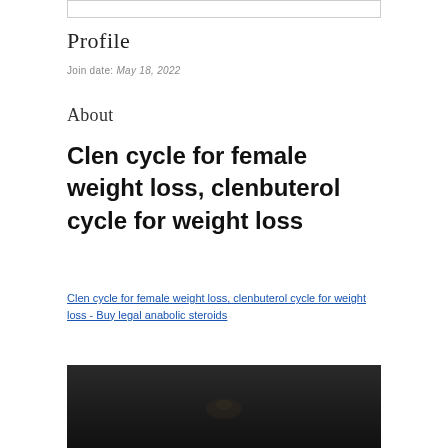Profile
Join date: May 18, 2022
About
Clen cycle for female weight loss, clenbuterol cycle for weight loss
Clen cycle for female weight loss, clenbuterol cycle for weight loss - Buy legal anabolic steroids
[Figure (photo): Dark blurred image at the bottom of the page]